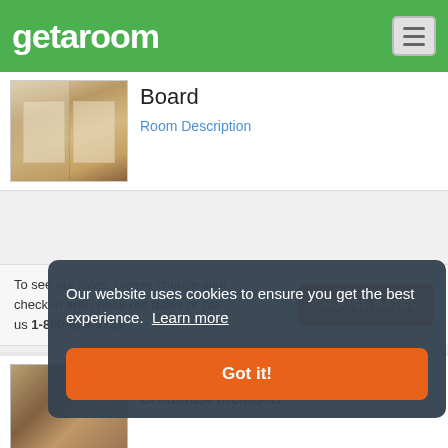getaroom
[Figure (photo): Hotel room interior with canopy beds and curtains]
Board
Room Description
To see our rates, please choose your check-in and check-out dates or call us 1-800-679-9738
[Figure (photo): Hotel family room interior]
Family Room (4 Adults)- Long Stay Breakfast Included
Room Description
To see our rates, please choose your check-in and check-out dates or call us 1-800-67...
Our website uses cookies to ensure you get the best experience. Learn more
Got it!